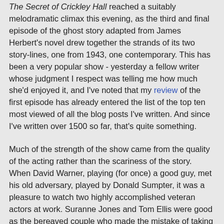The Secret of Crickley Hall reached a suitably melodramatic climax this evening, as the third and final episode of the ghost story adapted from James Herbert's novel drew together the strands of its two story-lines, one from 1943, one contemporary. This has been a very popular show - yesterday a fellow writer whose judgment I respect was telling me how much she'd enjoyed it, and I've noted that my review of the first episode has already entered the list of the top ten most viewed of all the blog posts I've written. And since I've written over 1500 so far, that's quite something.
Much of the strength of the show came from the quality of the acting rather than the scariness of the story. When David Warner, playing (for once) a good guy, met his old adversary, played by Donald Sumpter, it was a pleasure to watch two highly accomplished veteran actors at work. Suranne Jones and Tom Ellis were good as the bereaved couple who made the mistake of taking a break from their ordinary lives at a place as sinister as Crickley Hall. And Douglas Henshall was such a nasty chap as the deranged Augustus Cribben that it will be fascinating to see how he copes with the very different role of Jimmy Perez in the forthcoming series based